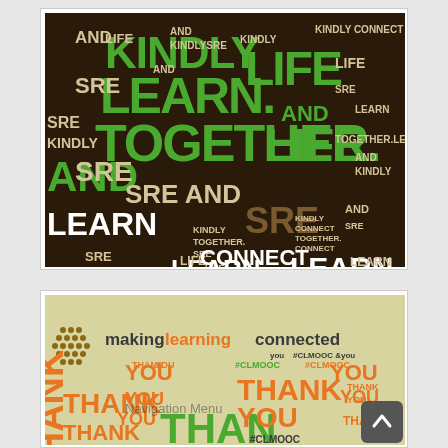[Figure (illustration): Word art / word cloud on a dark background featuring the words: KINDLY, LEARN, SRE, AND, LIFE, TOGETHER, CONNECT in large green and white letters, with repeated smaller words filling the background.]
[Figure (illustration): Word art / word cloud on a tan/cream background with the header 'makinglearningconnected' and repeated words THANK, YOU, #CLMOOC in orange and green. A 'Navigation Menu' text overlay and a scroll-to-top button appear in the corner.]